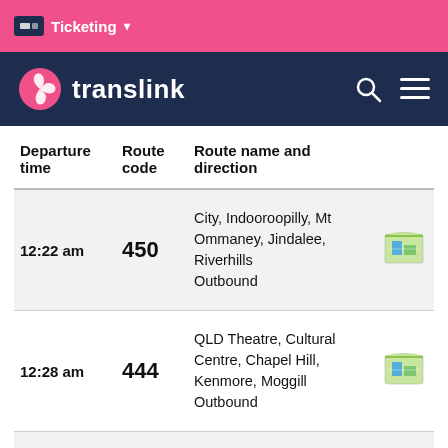Ticketing ▾
[Figure (logo): Translink logo with pink spiral and white text 'translink' on navy background, with search and menu icons]
| Departure time | Route code | Route name and direction |  |
| --- | --- | --- | --- |
| 12:22 am | 450 | City, Indooroopilly, Mt Ommaney, Jindalee, Riverhills Outbound | [map icon] |
| 12:28 am | 444 | QLD Theatre, Cultural Centre, Chapel Hill, Kenmore, Moggill Outbound | [map icon] |
| 12:45 am | 460 | City, Indooroopilly, Mt Ommaney, Forest Lake... | [map icon] |